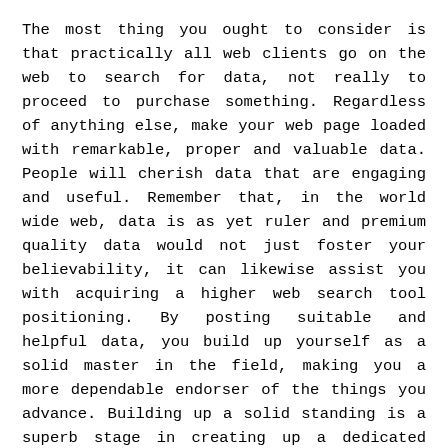The most thing you ought to consider is that practically all web clients go on the web to search for data, not really to proceed to purchase something. Regardless of anything else, make your web page loaded with remarkable, proper and valuable data. People will cherish data that are engaging and useful. Remember that, in the world wide web, data is as yet ruler and premium quality data would not just foster your believability, it can likewise assist you with acquiring a higher web search tool positioning. By posting suitable and helpful data, you build up yourself as a solid master in the field, making you a more dependable endorser of the things you advance. Building up a solid standing is a superb stage in creating up a dedicated purchaser base.
Significant Device 2: Incentives
Rivalry is incredibly close in the world wide web local area. You should consistently be out in front of your